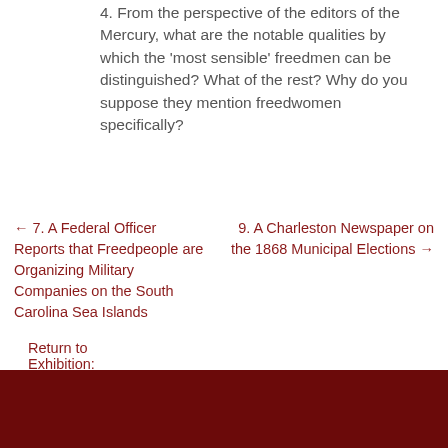4. From the perspective of the editors of the Mercury, what are the notable qualities by which the 'most sensible' freedmen can be distinguished? What of the rest? Why do you suppose they mention freedwomen specifically?
Return to Exhibition: Unit Two
← 7. A Federal Officer Reports that Freedpeople are Organizing Military Companies on the South Carolina Sea Islands
9. A Charleston Newspaper on the 1868 Municipal Elections →